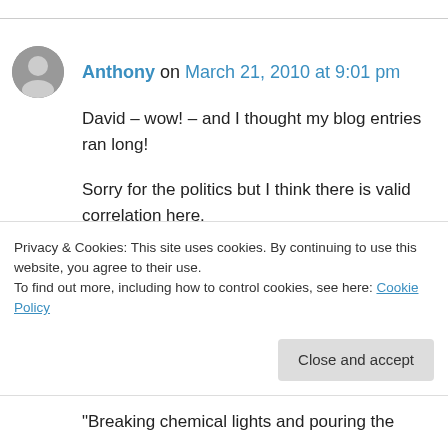Anthony on March 21, 2010 at 9:01 pm
David – wow! – and I thought my blog entries ran long!
Sorry for the politics but I think there is valid correlation here.
A Pew Forum poll shows that the majority of Roman Catholics, Evangelicals, and the most frequent churchgoes support torture saying it is
Privacy & Cookies: This site uses cookies. By continuing to use this website, you agree to their use.
To find out more, including how to control cookies, see here: Cookie Policy
"Breaking chemical lights and pouring the